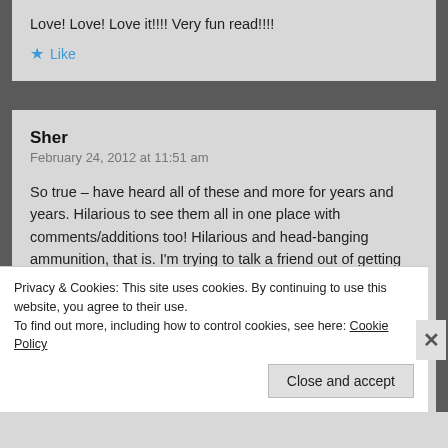Love! Love! Love it!!!! Very fun read!!!!
Like
Sher
February 24, 2012 at 11:51 am
So true – have heard all of these and more for years and years. Hilarious to see them all in one place with comments/additions too! Hilarious and head-banging ammunition, that is. I'm trying to talk a friend out of getting one right now.... although her comment that her cats don't do as much damage as a bird would is WAY off base! I've never known a bird
Privacy & Cookies: This site uses cookies. By continuing to use this website, you agree to their use.
To find out more, including how to control cookies, see here: Cookie Policy
Close and accept